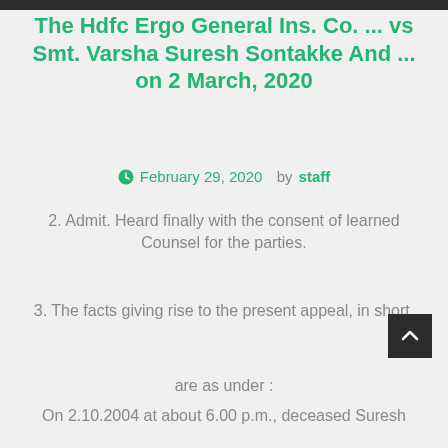The Hdfc Ergo General Ins. Co. ... vs Smt. Varsha Suresh Sontakke And ... on 2 March, 2020
February 29, 2020   by staff
2. Admit. Heard finally with the consent of learned Counsel for the parties.
3. The facts giving rise to the present appeal, in short,
are as under :
On 2.10.2004 at about 6.00 p.m., deceased Suresh
Namdeo Sontakke was proceeding on his Motorcycle